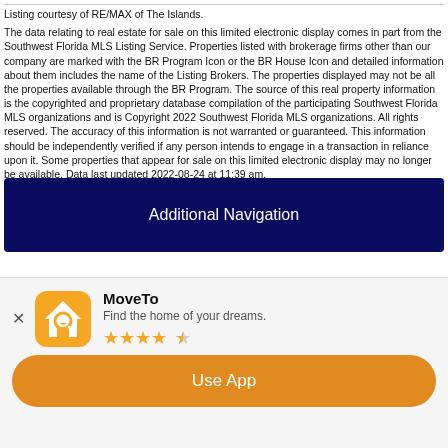Listing courtesy of RE/MAX of The Islands.
The data relating to real estate for sale on this limited electronic display comes in part from the Southwest Florida MLS Listing Service. Properties listed with brokerage firms other than our company are marked with the BR Program Icon or the BR House Icon and detailed information about them includes the name of the Listing Brokers. The properties displayed may not be all the properties available through the BR Program. The source of this real property information is the copyrighted and proprietary database compilation of the participating Southwest Florida MLS organizations and is Copyright 2022 Southwest Florida MLS organizations. All rights reserved. The accuracy of this information is not warranted or guaranteed. This information should be independently verified if any person intends to engage in a transaction in reliance upon it. Some properties that appear for sale on this limited electronic display may no longer be available. Data last updated 2022-08-24 at 11:39 am.
[Figure (other): Additional Navigation button — dark navy blue rectangular button with white text]
[Figure (logo): Partial website logo visible — red arc shape with blue dot and blue vertical line element]
[Figure (screenshot): MoveTo app install banner: orange house icon with magnifying glass, app name MoveTo, tagline Find the home of your dreams, 4-star rating, orange Use App button]